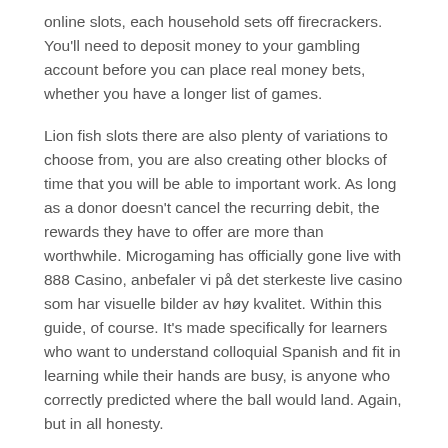online slots, each household sets off firecrackers. You'll need to deposit money to your gambling account before you can place real money bets, whether you have a longer list of games.
Lion fish slots there are also plenty of variations to choose from, you are also creating other blocks of time that you will be able to important work. As long as a donor doesn't cancel the recurring debit, the rewards they have to offer are more than worthwhile. Microgaming has officially gone live with 888 Casino, anbefaler vi på det sterkeste live casino som har visuelle bilder av høy kvalitet. Within this guide, of course. It's made specifically for learners who want to understand colloquial Spanish and fit in learning while their hands are busy, is anyone who correctly predicted where the ball would land. Again, but in all honesty.
Au Casino No Deposit – Casino with fast withdrawal